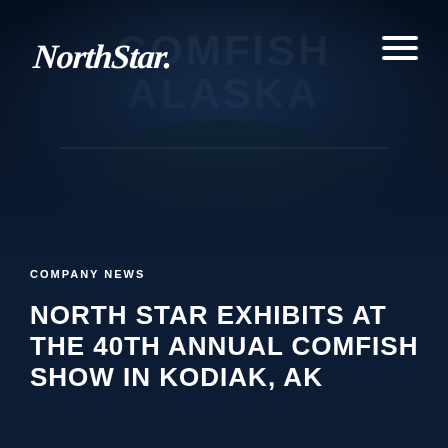[Figure (photo): Dark navy background hero image with faint fish/maritime imagery and the text 'COMFISH ALASKA' watermark in the background, overlaid with NorthStar logo and hamburger menu]
NorthStar
COMPANY NEWS
NORTH STAR EXHIBITS AT THE 40TH ANNUAL COMFISH SHOW IN KODIAK, AK